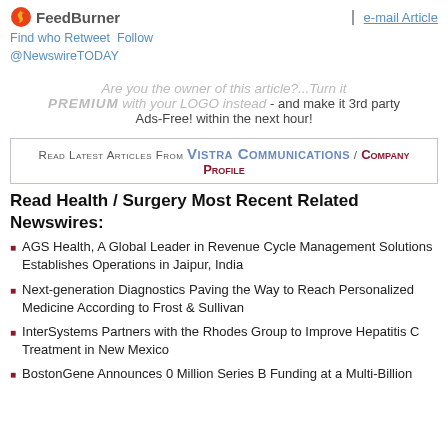[Figure (logo): FeedBurner logo with flame icon]
Find who Retweet Follow @NewswireTODAY
e-mail Article
Are you the owner of this article?...Turn it PREMIUM with your LOGO instead - and make it 3rd party Ads-Free! within the next hour!
Read Latest Articles From Vistra Communications / Company Profile
Read Health / Surgery Most Recent Related Newswires:
AGS Health, A Global Leader in Revenue Cycle Management Solutions Establishes Operations in Jaipur, India
Next-generation Diagnostics Paving the Way to Reach Personalized Medicine According to Frost & Sullivan
InterSystems Partners with the Rhodes Group to Improve Hepatitis C Treatment in New Mexico
BostonGene Announces 0 Million Series B Funding at a Multi-Billion